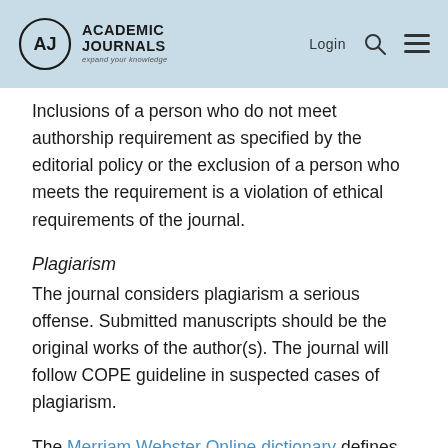Academic Journals — Login
Inclusions of a person who do not meet authorship requirement as specified by the editorial policy or the exclusion of a person who meets the requirement is a violation of ethical requirements of the journal.
Plagiarism
The journal considers plagiarism a serious offense. Submitted manuscripts should be the original works of the author(s). The journal will follow COPE guideline in suspected cases of plagiarism.
The Merriam Webster Online dictionary defines plagiarizing as: